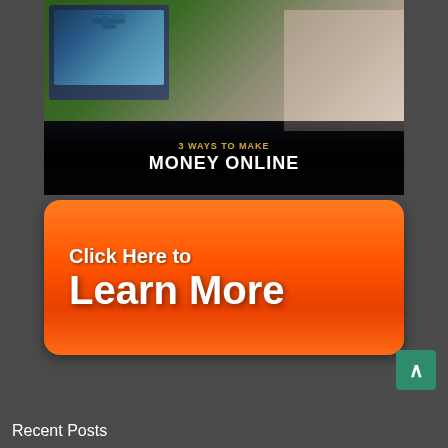[Figure (infographic): Promotional banner showing a laptop with text 'START SELLING YOUR PRODUCT TODAY' on screen, overlaid with text '3 WAYS TO MAKE MONEY ONLINE' on a dark background, with a person's hands visible in the background]
[Figure (infographic): Orange gradient call-to-action button with text 'Click Here to Learn More' in white bold text]
Recent Posts